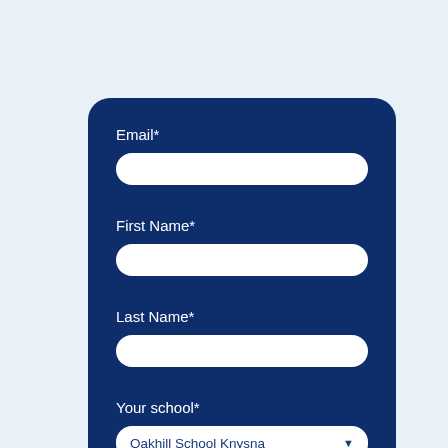Email*
First Name*
Last Name*
Your school*
Oakhill School Knysna